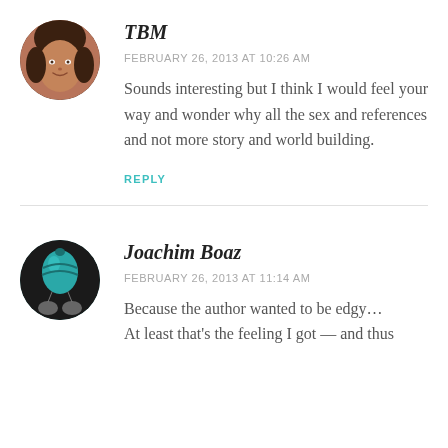[Figure (photo): Circular avatar photo of TBM, a woman smiling]
TBM
FEBRUARY 26, 2013 AT 10:26 AM
Sounds interesting but I think I would feel your way and wonder why all the sex and references and not more story and world building.
REPLY
[Figure (photo): Circular avatar with a blue hot air balloon illustration on dark background]
Joachim Boaz
FEBRUARY 26, 2013 AT 11:14 AM
Because the author wanted to be edgy… At least that's the feeling I got — and thus